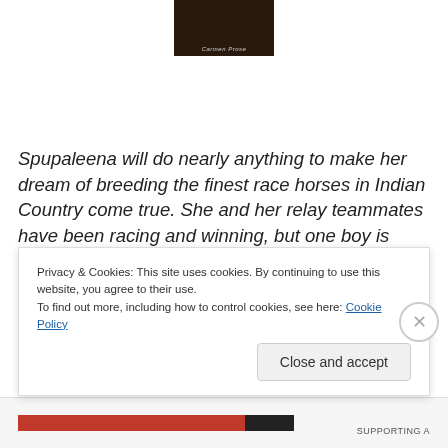[Figure (photo): Book cover image — dark background with author name 'Carmen Prose' in small italic text at bottom]
Spupaleena will do nearly anything to make her dream of breeding the finest race horses in Indian Country come true. She and her relay teammates have been racing and winning, but one boy is resolved to see her fail. Spupaleena is passionate about her dreams and goals. Not any human nor circumstance will deter her–not
Privacy & Cookies: This site uses cookies. By continuing to use this website, you agree to their use.
To find out more, including how to control cookies, see here: Cookie Policy
Close and accept